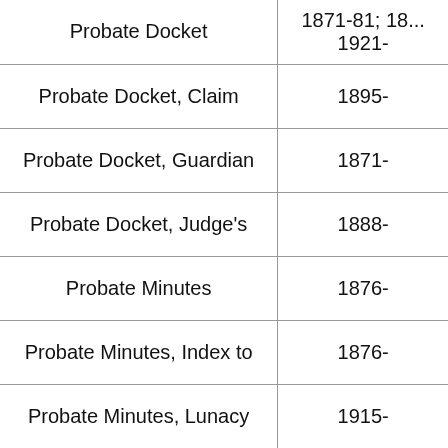| Record Type | Dates |
| --- | --- |
| Probate Docket | 1871-81; 18...
1921- |
| Probate Docket, Claim | 1895- |
| Probate Docket, Guardian | 1871- |
| Probate Docket, Judge's | 1888- |
| Probate Minutes | 1876- |
| Probate Minutes, Index to | 1876- |
| Probate Minutes, Lunacy | 1915- |